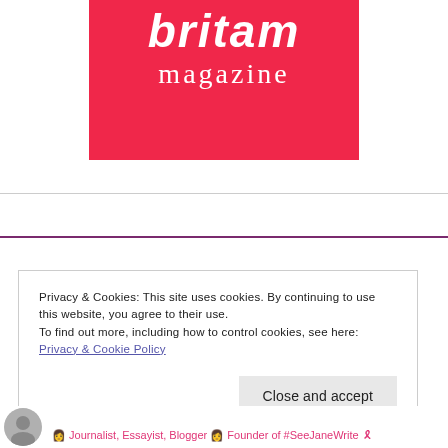[Figure (logo): Brit + Co magazine logo — red/pink background with white bold italic wordmark 'britani' and 'magazine' in serif below]
Privacy & Cookies: This site uses cookies. By continuing to use this website, you agree to their use.
To find out more, including how to control cookies, see here: Privacy & Cookie Policy
Close and accept
🧡 Journalist, Essayist, Blogger 🧡 Founder of #SeeJaneWrite 🎗